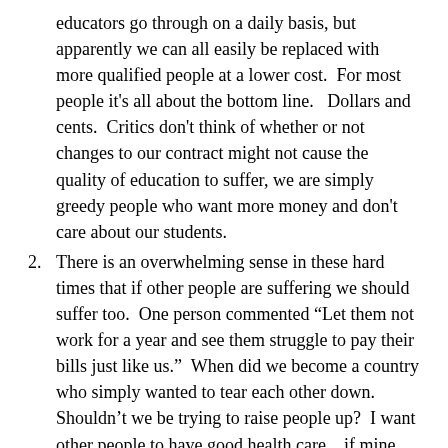educators go through on a daily basis, but apparently we can all easily be replaced with more qualified people at a lower cost.  For most people it's all about the bottom line.   Dollars and cents.  Critics don't think of whether or not changes to our contract might not cause the quality of education to suffer, we are simply greedy people who want more money and don't care about our students.
There is an overwhelming sense in these hard times that if other people are suffering we should suffer too.  One person commented “Let them not work for a year and see them struggle to pay their bills just like us.”  When did we become a country who simply wanted to tear each other down.  Shouldn't we be trying to raise people up?  I want other people to have good health care…if mine